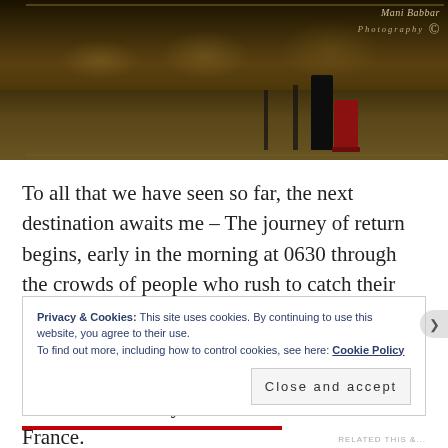[Figure (photo): Dark atmospheric photo of a train station or airport interior at early morning. A figure in dark clothing with a red suitcase is visible. A watermark reading 'Mani Babbar Photography' with a copyright symbol appears in the top right corner.]
To all that we have seen so far, the next destination awaits me – The journey of return begins, early in the morning at 0630 through the crowds of people who rush to catch their return via Eurostar train. It was interesting to notice how many people commence their weekend journeys working in London,  living in Paris and family somewhere farther out in France.
Privacy & Cookies: This site uses cookies. By continuing to use this website, you agree to their use.
To find out more, including how to control cookies, see here: Cookie Policy
Close and accept